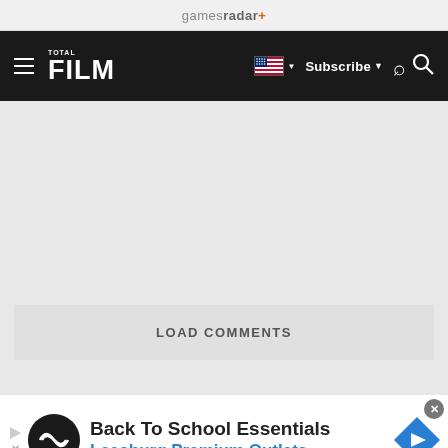gamesradar+
[Figure (screenshot): Total Film navigation bar with hamburger menu, TOTAL FILM logo, US flag dropdown, Subscribe button, and search icon on dark background]
[Figure (other): Empty gray content area]
LOAD COMMENTS
[Figure (other): Advertisement banner: Back To School Essentials - Leesburg Premium Outlets with logo and navigation icon]